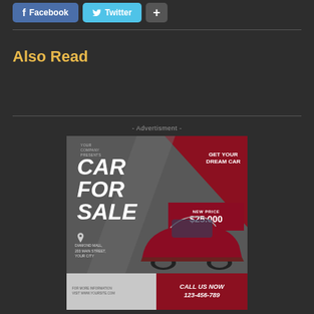[Figure (other): Social share buttons: Facebook (blue), Twitter (cyan), and a plus button]
Also Read
- Advertisment -
[Figure (infographic): Car for sale advertisement banner. Text: YOUR COMPANY PRESENTS, CAR FOR SALE, GET YOUR DREAM CAR, NEW PRICE $25.000, DIAMOND MALL, 203 MAIN STREET, YOUR CITY, FOR MORE INFORMATION VISIT WWW.YOURSITE.COM, CALL US NOW 123-456-789]